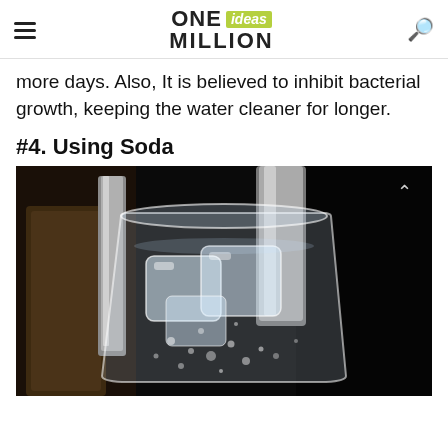ONE ideas MILLION
more days. Also, It is believed to inhibit bacterial growth, keeping the water cleaner for longer.
#4. Using Soda
[Figure (photo): Close-up photo of a glass filled with sparkling water and ice cubes, with bubbles visible. Dark background with metal cups/straws in the background.]